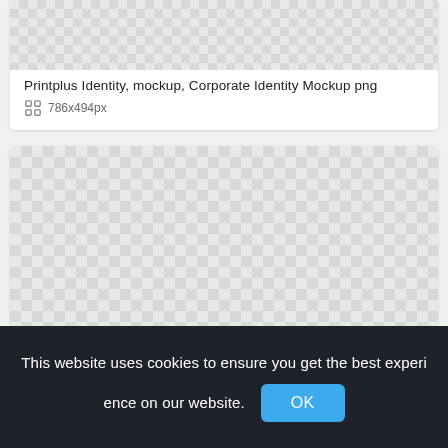[Figure (screenshot): Transparency checkerboard pattern (top portion of image card 1)]
Printplus Identity, mockup, Corporate Identity Mockup png
786x494px
[Figure (screenshot): Transparency checkerboard pattern (large image card 2)]
This website uses cookies to ensure you get the best experience on our website.